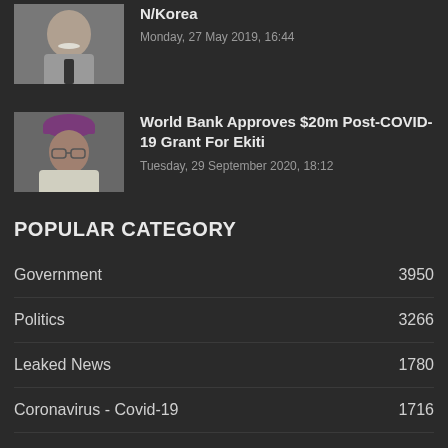[Figure (photo): Thumbnail photo of a man with white mustache in suit and tie]
N/Korea
Monday, 27 May 2019, 16:44
[Figure (photo): Thumbnail photo of a man wearing a purple/maroon cap and white shirt]
World Bank Approves $20m Post-COVID-19 Grant For Ekiti
Tuesday, 29 September 2020, 18:12
POPULAR CATEGORY
Government 3950
Politics 3266
Leaked News 1780
Coronavirus - Covid-19 1716
Entertainment 1335
Sport 665
Security 662
Coronavirus 645